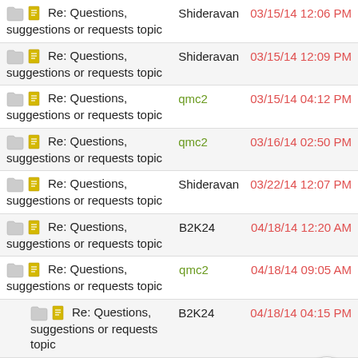Re: Questions, suggestions or requests topic | Shideravan | 03/15/14 12:06 PM
Re: Questions, suggestions or requests topic | Shideravan | 03/15/14 12:09 PM
Re: Questions, suggestions or requests topic | qmc2 | 03/15/14 04:12 PM
Re: Questions, suggestions or requests topic | qmc2 | 03/16/14 02:50 PM
Re: Questions, suggestions or requests topic | Shideravan | 03/22/14 12:07 PM
Re: Questions, suggestions or requests topic | B2K24 | 04/18/14 12:20 AM
Re: Questions, suggestions or requests topic | qmc2 | 04/18/14 09:05 AM
Re: Questions, suggestions or requests topic | B2K24 | 04/18/14 04:15 PM
Re: Questions, suggestions or requests topic | qmc2 | 04/18/14 09:30 AM
Re: Questions, suggestions or requests topic | qmc2 | 04/18/14 10:23 AM